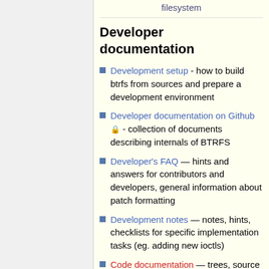filesystem
Developer documentation
Development setup - how to build btrfs from sources and prepare a development environment
Developer documentation on Github 🔒 - collection of documents describing internals of BTRFS
Developer's FAQ — hints and answers for contributors and developers, general information about patch formatting
Development notes — notes, hints, checklists for specific implementation tasks (eg. adding new ioctls)
Code documentation — trees, source files, sample code for manipulating trees